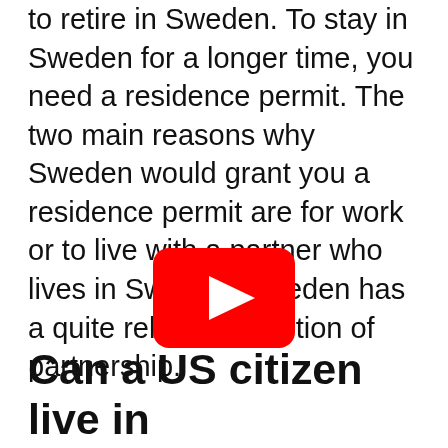to retire in Sweden. To stay in Sweden for a longer time, you need a residence permit. The two main reasons why Sweden would grant you a residence permit are for work or to live with a partner who lives in Sweden. Sweden has a quite relaxed definition of partnership.
[Figure (other): YouTube play button icon — red rounded rectangle with white triangle play arrow]
Can a US citizen live in